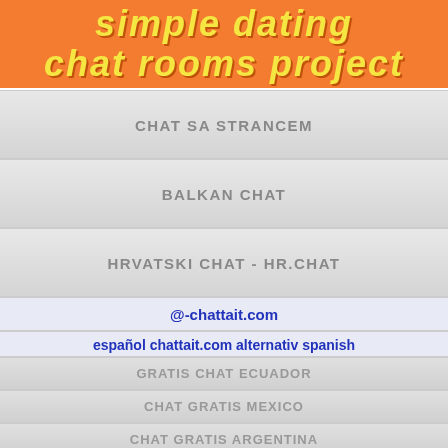simple dating chat rooms project
CHAT SA STRANCEM
BALKAN CHAT
HRVATSKI CHAT - HR.CHAT
@-chattait.com
español chattait.com alternativ spanish
GRATIS CHAT ECUADOR
CHAT GRATIS MEXICO
CHAT GRATIS ARGENTINA
#chattait.com espagnole
BOOKMARK,SHARE,LIKE! :) THANK YOU!
CHAT